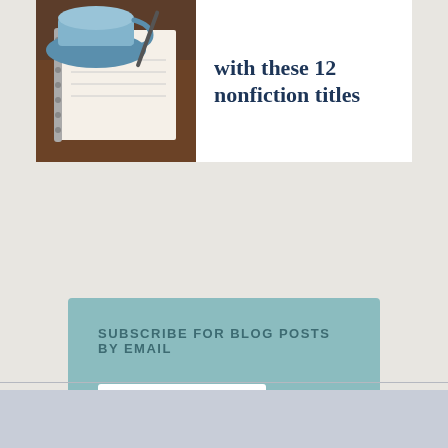[Figure (photo): Photo of a blue coffee mug and spiral notebook on a wooden desk, partially visible on the left side of a white card]
with these 12 nonfiction titles
SUBSCRIBE FOR BLOG POSTS BY EMAIL
EMAIL ADDRESS
Submit >